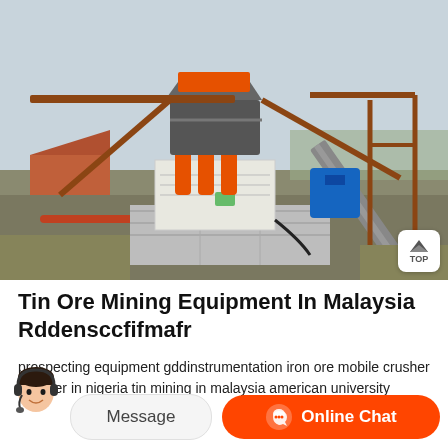[Figure (photo): Photo of tin ore mining equipment / machinery at an outdoor industrial site in Malaysia. Large orange and white industrial processing machine on a concrete base, with metal framework, conveyor belt, and a blue motor. Overcast sky in background with sparse trees.]
Tin Ore Mining Equipment In Malaysia Rddensccfifmafr
prospecting equipment gddinstrumentation iron ore mobile crusher supplier in nigeria tin mining in malaysia american university
2019 is keen to exploit malaysias reserves of coal, tin ore, iron ore